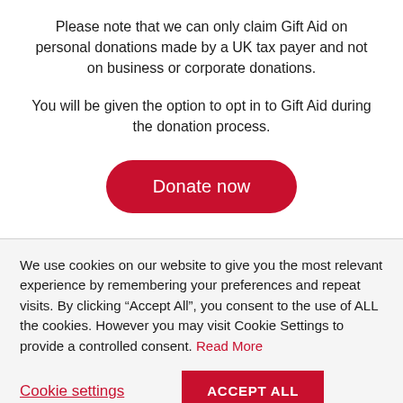Please note that we can only claim Gift Aid on personal donations made by a UK tax payer and not on business or corporate donations.
You will be given the option to opt in to Gift Aid during the donation process.
Donate now
We use cookies on our website to give you the most relevant experience by remembering your preferences and repeat visits. By clicking “Accept All”, you consent to the use of ALL the cookies. However you may visit Cookie Settings to provide a controlled consent. Read More
Cookie settings
ACCEPT ALL